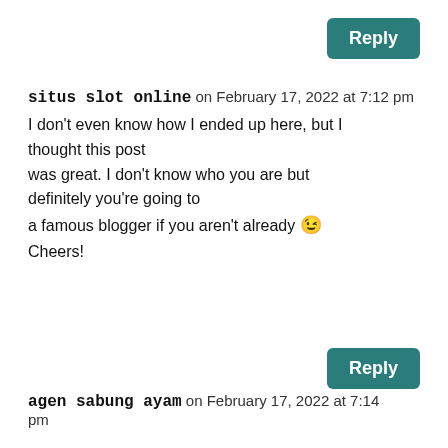Reply (button, top right)
situs slot online on February 17, 2022 at 7:12 pm
I don't even know how I ended up here, but I thought this post was great. I don't know who you are but definitely you're going to a famous blogger if you aren't already 😉 Cheers!
Reply (button, bottom right)
agen sabung ayam on February 17, 2022 at 7:14 pm
If you ...